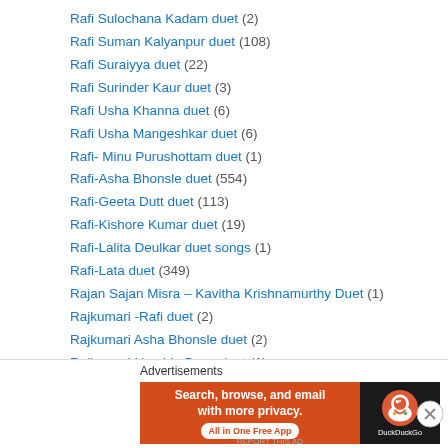Rafi Sulochana Kadam duet (2)
Rafi Suman Kalyanpur duet (108)
Rafi Suraiyya duet (22)
Rafi Surinder Kaur duet (3)
Rafi Usha Khanna duet (6)
Rafi Usha Mangeshkar duet (6)
Rafi- Minu Purushottam duet (1)
Rafi-Asha Bhonsle duet (554)
Rafi-Geeta Dutt duet (113)
Rafi-Kishore Kumar duet (19)
Rafi-Lalita Deulkar duet songs (1)
Rafi-Lata duet (349)
Rajan Sajan Misra – Kavitha Krishnamurthy Duet (1)
Rajkumari -Rafi duet (2)
Rajkumari Asha Bhonsle duet (2)
Rajkumari Hamida Bano duet (1)
[Figure (screenshot): DuckDuckGo advertisement banner: orange background with text 'Search, browse, and email with more privacy. All in One Free App' and DuckDuckGo logo on dark background]